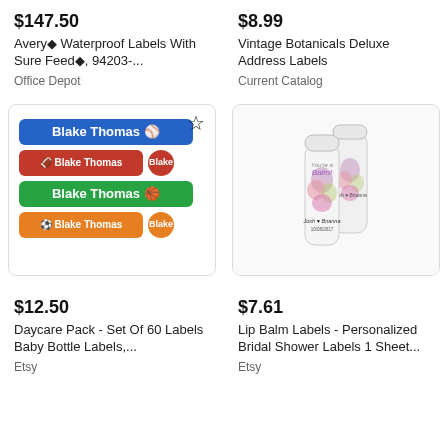$147.50
Avery® Waterproof Labels With Sure Feed®, 94203-...
Office Depot
$8.99
Vintage Botanicals Deluxe Address Labels
Current Catalog
[Figure (photo): Colorful name labels with sports themes showing 'Blake Thomas' in blue, red, green, and orange color schemes with sports ball icons (baseball, football, basketball, soccer)]
[Figure (photo): Two white personalized lip balm tubes with floral design, labeled 'Josh & Brianna 10/08/2017']
$12.50
Daycare Pack - Set Of 60 Labels Baby Bottle Labels,...
Etsy
$7.61
Lip Balm Labels - Personalized Bridal Shower Labels 1 Sheet...
Etsy